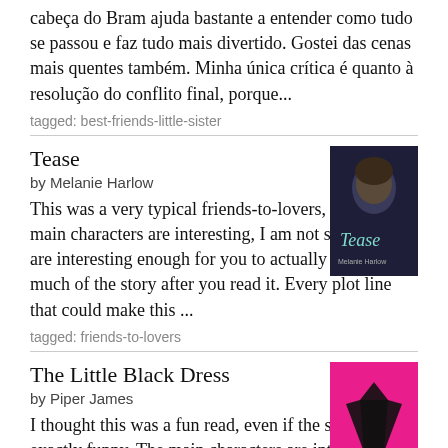cabeça do Bram ajuda bastante a entender como tudo se passou e faz tudo mais divertido. Gostei das cenas mais quentes também. Minha única crítica é quanto à resolução do conflito final, porque...
tagged: best-friends-little-sister
Tease
by Melanie Harlow
[Figure (photo): Book cover for Tease by Melanie Harlow, dark background with a man's face]
This was a very typical friends-to-lovers, I think. The main characters are interesting, I am not sure if they are interesting enough for you to actually remember much of the story after you read it. Every plot line that could make this ...
tagged: friends-to-lovers
The Little Black Dress
by Piper James
[Figure (photo): Book cover for The Little Black Dress by Piper James, pink background with a black dress]
I thought this was a fun read, even if the story is not exactly funny. The main characters are interesting and Sophie's best friends are great. I think there were moments where the story was